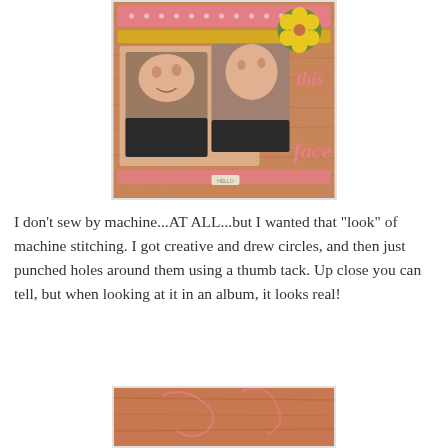[Figure (photo): Scrapbook page layout featuring two photos of a baby/toddler, decorated with pink polka dot borders, yellow banner, a green circle with yellow flower embellishment, and the text 'this face' in pink cursive lettering on the right side.]
I don't sew by machine...AT ALL...but I wanted that "look" of machine stitching. I got creative and drew circles, and then just punched holes around them using a thumb tack. Up close you can tell, but when looking at it in an album, it looks real!
[Figure (photo): Close-up photo of scrapbook paper showing the faux machine stitching technique with punched holes, warm brown and pink tones visible.]